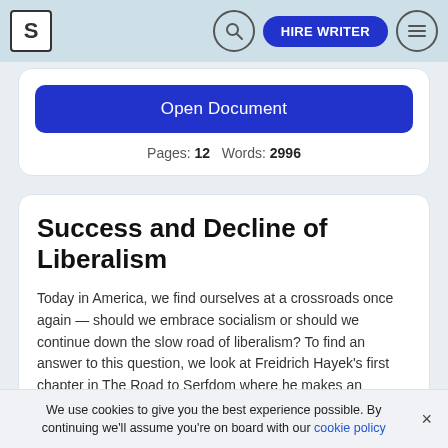S | [search icon] | HIRE WRITER | [menu icon]
Open Document
Pages: 12   Words: 2996
Success and Decline of Liberalism
Today in America, we find ourselves at a crossroads once again — should we embrace socialism or should we continue down the slow road of liberalism? To find an answer to this question, we look at Freidrich Hayek's first chapter in The Road to Serfdom where he makes an interesting proposition about the fate of…
Liberalism, Politics
We use cookies to give you the best experience possible. By continuing we'll assume you're on board with our cookie policy